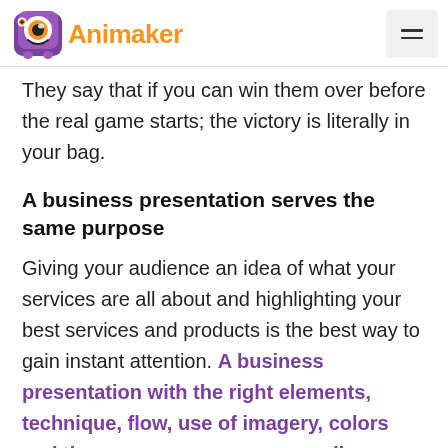Animaker
They say that if you can win them over before the real game starts; the victory is literally in your bag.
A business presentation serves the same purpose
Giving your audience an idea of what your services are all about and highlighting your best services and products is the best way to gain instant attention. A business presentation with the right elements, technique, flow, use of imagery, colors and themes can engage your audience and keep them hooked from the beginning till the end.